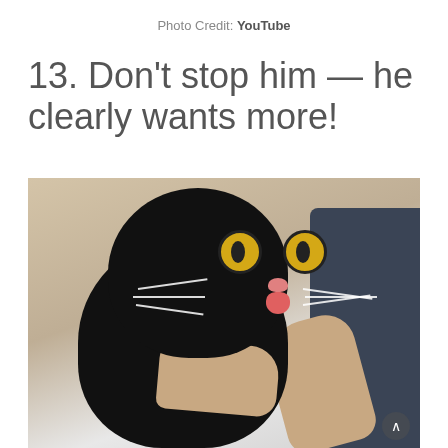Photo Credit: YouTube
13. Don't stop him — he clearly wants more!
[Figure (photo): A black cat with wide golden eyes and its tongue slightly sticking out, being held up by a person's hand. The cat appears excited or surprised. The person is wearing a dark navy shirt. Background shows a light-colored room.]